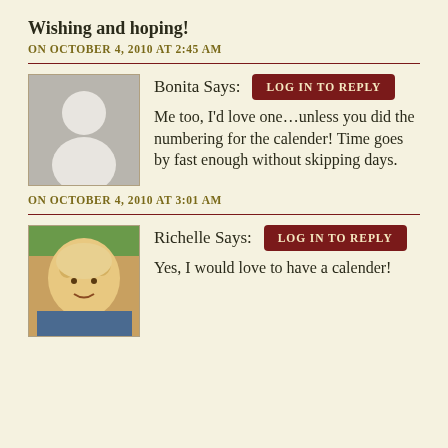Wishing and hoping!
ON OCTOBER 4, 2010 AT 2:45 AM
Bonita Says:
[Figure (illustration): Default avatar placeholder showing silhouette of a person with grey background]
LOG IN TO REPLY
Me too, I'd love one…unless you did the numbering for the calender! Time goes by fast enough without skipping days.
ON OCTOBER 4, 2010 AT 3:01 AM
Richelle Says:
[Figure (photo): Photo of Richelle, a woman with blonde/white hair, smiling, wearing dark clothing, outdoors with green background]
LOG IN TO REPLY
Yes, I would love to have a calender!